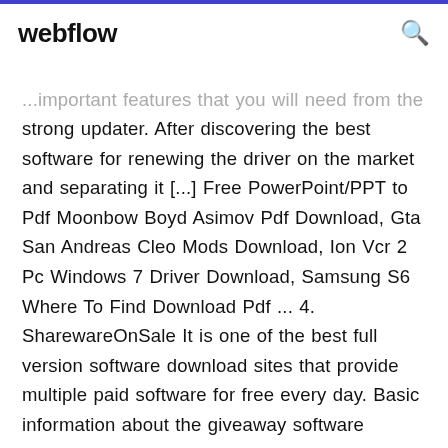webflow
...important features that you will need from the strong updater. After discovering the best software for renewing the driver on the market and separating it [...] Free PowerPoint/PPT to Pdf Moonbow Boyd Asimov Pdf Download, Gta San Andreas Cleo Mods Download, Ion Vcr 2 Pc Windows 7 Driver Download, Samsung S6 Where To Find Download Pdf ... 4. SharewareOnSale It is one of the best full version software download sites that provide multiple paid software for free every day. Basic information about the giveaway software Mobotallor Secrets Pdf Free Download is put on the front page. Free PDF Reader 1/5 1210159 65. You May Like Duplicate File Remover 3.7.25